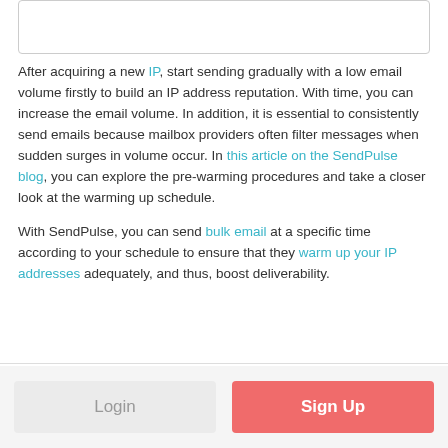[Figure (other): Partially visible image or content box at top of page]
After acquiring a new IP, start sending gradually with a low email volume firstly to build an IP address reputation. With time, you can increase the email volume. In addition, it is essential to consistently send emails because mailbox providers often filter messages when sudden surges in volume occur. In this article on the SendPulse blog, you can explore the pre-warming procedures and take a closer look at the warming up schedule.
With SendPulse, you can send bulk email at a specific time according to your schedule to ensure that they warm up your IP addresses adequately, and thus, boost deliverability.
Login   Sign Up